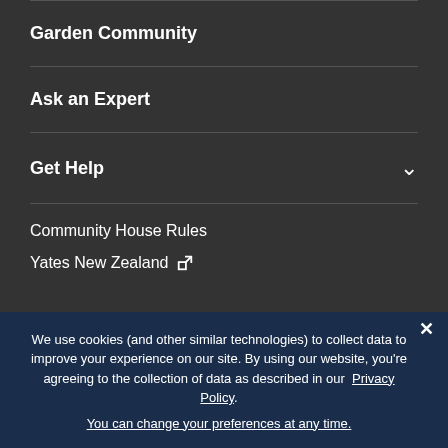Garden Community
Ask an Expert
Get Help
Community House Rules
Yates New Zealand
[Figure (logo): Yates brand logo with red and yellow background]
We use cookies (and other similar technologies) to collect data to improve your experience on our site. By using our website, you're agreeing to the collection of data as described in our Privacy Policy.
You can change your preferences at any time.